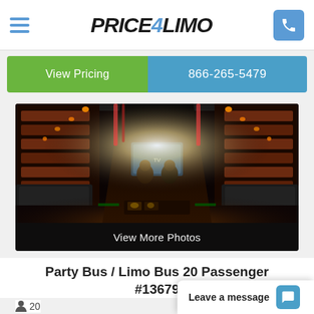Price4Limo — hamburger menu, logo, phone button
View Pricing | 866-265-5479
[Figure (photo): Interior of a party bus / limo bus showing dark leather seating, decorative lighting, and a narrow aisle leading toward a screen at the back.]
View More Photos
Party Bus / Limo Bus 20 Passenger #13679
20
Leave a message